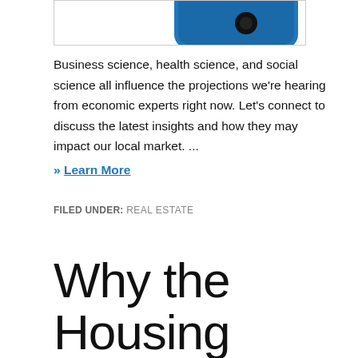[Figure (screenshot): Partial view of a phone/device image with blue background, cropped at the top of the page]
Business science, health science, and social science all influence the projections we're hearing from economic experts right now. Let's connect to discuss the latest insights and how they may impact our local market. ...
» Learn More
FILED UNDER: REAL ESTATE
Why the Housing